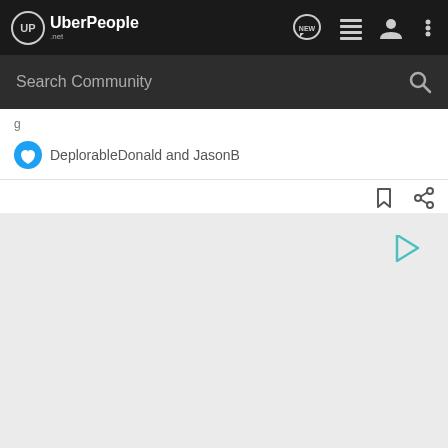UberPeople.net
Search Community
DeplorableDonald and JasonB
[Figure (screenshot): Gray advertisement/content placeholder area with a small teal play button icon in the upper right]